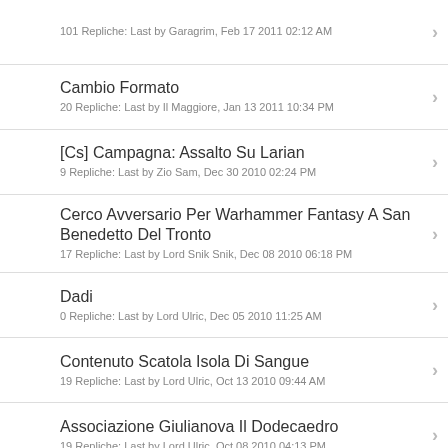101 Repliche: Last by Garagrim, Feb 17 2011 02:12 AM
Cambio Formato
20 Repliche: Last by Il Maggiore, Jan 13 2011 10:34 PM
[Cs] Campagna: Assalto Su Larian
9 Repliche: Last by Zio Sam, Dec 30 2010 02:24 PM
Cerco Avversario Per Warhammer Fantasy A San Benedetto Del Tronto
17 Repliche: Last by Lord Snik Snik, Dec 08 2010 06:18 PM
Dadi
0 Repliche: Last by Lord Ulric, Dec 05 2010 11:25 AM
Contenuto Scatola Isola Di Sangue
19 Repliche: Last by Lord Ulric, Oct 13 2010 09:44 AM
Associazione Giulianova Il Dodecaedro
19 Repliche: Last by Lord Ulric, Oct 08 2010 04:13 PM
>Cut
1 Repliche: Last by Hunter335, Sep 23 2010 08:59 AM
[Cs] I Cani Sciolti